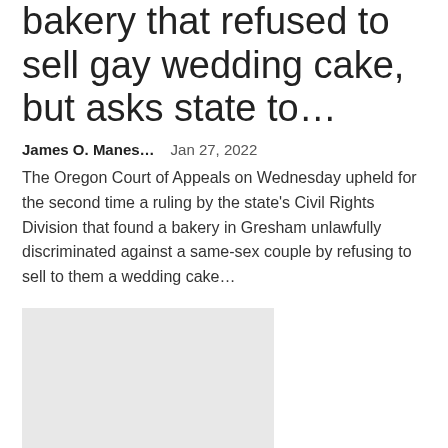bakery that refused to sell gay wedding cake, but asks state to…
James O. Manes…   Jan 27, 2022
The Oregon Court of Appeals on Wednesday upheld for the second time a ruling by the state's Civil Rights Division that found a bakery in Gresham unlawfully discriminated against a same-sex couple by refusing to sell to them a wedding cake…
[Figure (photo): Gray placeholder image for article thumbnail]
Emilee Carpenter can't refuse